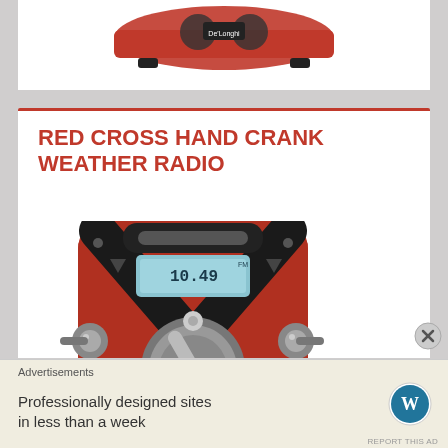[Figure (photo): Partial view of a red portable device (previous product listing) shown at top of page]
RED CROSS HAND CRANK WEATHER RADIO
[Figure (photo): Close-up photo of a red Red Cross Hand Crank Weather Radio with digital display showing 10.49, metal crank handle visible]
Advertisements
Professionally designed sites in less than a week